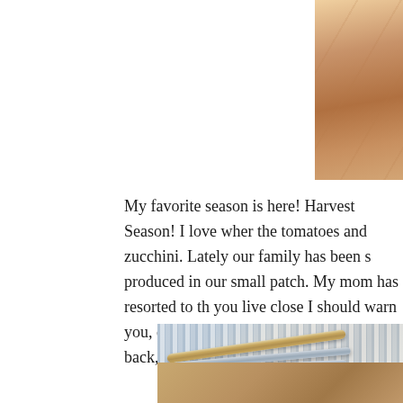[Figure (photo): Close-up photo of a wooden cutting board or surface, warm brown tones, partial view of a white object in the upper right corner]
My favorite season is here! Harvest Season! I love when the tomatoes and zucchini. Lately our family has been s produced in our small patch. My mom has resorted to th you live close I should warn you, do not stop and talk to behind her back, hiding something ;)
[Figure (photo): Photo of blue and white striped fabric/cloth with metal kitchen utensils (likely tongs or similar tools) resting on a wooden cutting board]